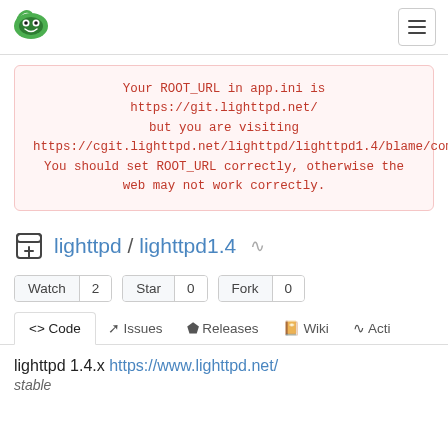[Figure (logo): Gitea green logo icon in top left navigation bar]
Your ROOT_URL in app.ini is https://git.lighttpd.net/ but you are visiting https://cgit.lighttpd.net/lighttpd/lighttpd1.4/blame/commit/33f1ec6d28d02878f824469ac46a4f5a05db8c65/COPYING You should set ROOT_URL correctly, otherwise the web may not work correctly.
lighttpd / lighttpd1.4
Watch 2   Star 0   Fork 0
<> Code   Issues   Releases   Wiki   Acti
lighttpd 1.4.x https://www.lighttpd.net/
stable